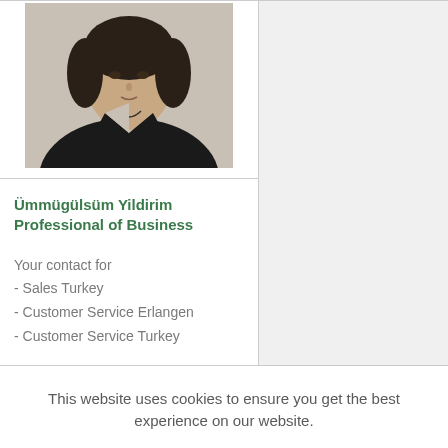[Figure (photo): Professional headshot of a woman in a dark blazer against a light background]
Ümmügülsüm Yildirim
Professional of Business
Your contact for
- Sales Turkey
- Customer Service Erlangen
- Customer Service Turkey
This website uses cookies to ensure you get the best experience on our website.